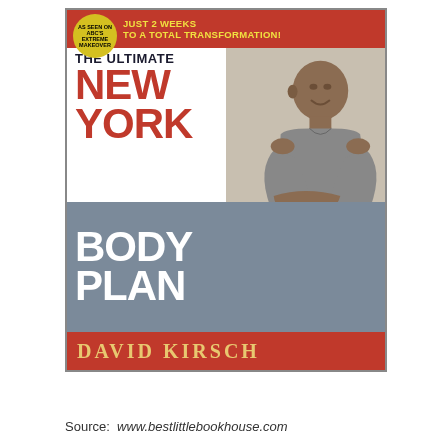[Figure (photo): Book cover of 'The Ultimate New York Body Plan' by David Kirsch. Cover shows title text in large letters with a man (David Kirsch) with arms crossed wearing a grey t-shirt. Top red banner says 'JUST 2 WEEKS TO A TOTAL TRANSFORMATION!' with a yellow starburst badge. Bottom red band shows author name 'DAVID KIRSCH' in gold letters. Subtitle reads 'The Breakthrough Diet and Fitness System That Sheds Pounds and Reshapes Your Body—FAST!']
Source: www.bestlittlebookhouse.com